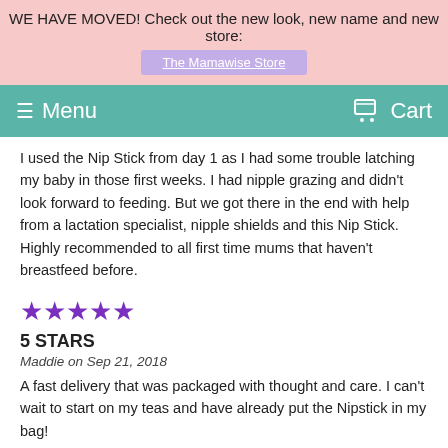WE HAVE MOVED! Check out the new look, new name and new store: The Mamawise Store
Menu   Cart
I used the Nip Stick from day 1 as I had some trouble latching my baby in those first weeks. I had nipple grazing and didn't look forward to feeding. But we got there in the end with help from a lactation specialist, nipple shields and this Nip Stick. Highly recommended to all first time mums that haven't breastfeed before.
★★★★★
5 STARS
Maddie on Sep 21, 2018
A fast delivery that was packaged with thought and care. I can't wait to start on my teas and have already put the Nipstick in my bag!